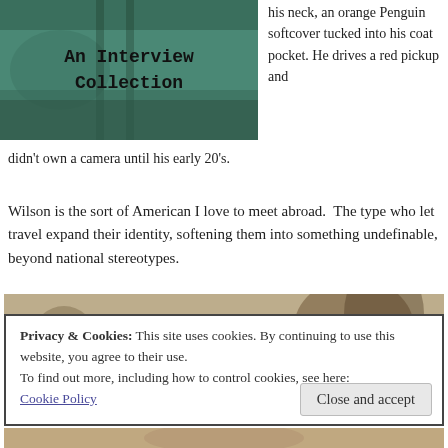[Figure (photo): Photo with overlay text reading 'An Interview Collection' in typewriter font, showing water and dock scene with teal/green tones]
his neck, an orange Penguin softcover tucked into his coat pocket. He drives a red pickup and didn't own a camera until his early 20's.
Wilson is the sort of American I love to meet abroad.  The type who let travel expand their identity, softening them into something undefinable, beyond national stereotypes.
[Figure (photo): Sepia-toned landscape photo with trees, overlaid by a cookie consent dialog]
Privacy & Cookies: This site uses cookies. By continuing to use this website, you agree to their use.
To find out more, including how to control cookies, see here:
Cookie Policy
[Figure (photo): Partial sepia-toned photo at bottom of page]